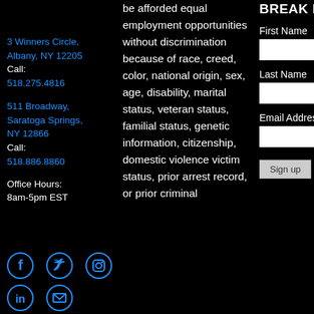3 Winners Circle, Albany, NY 12205
Call:
518.275.4816
511 Broadway, Saratoga Springs, NY 12866
Call:
518.886.8860
Office Hours:
8am-5pm EST
[Figure (infographic): Social media icons: Facebook, Twitter, Instagram (top row); LinkedIn, Email (bottom row) — all in blue on black background]
be afforded equal employment opportunities without discrimination because of race, creed, color, national origin, sex, age, disability, marital status, veteran status, familial status, genetic information, citizenship, domestic violence victim status, prior arrest record, or prior criminal
BREAK BLOG
First Name
Last Name
Email Address
Sign up